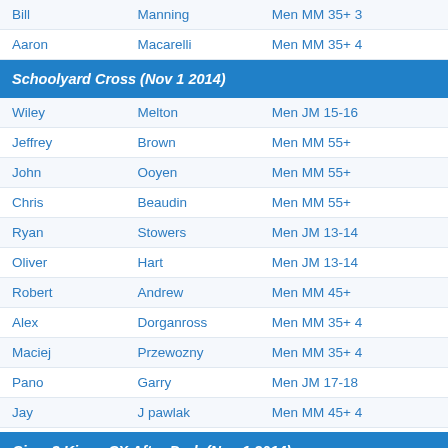| First | Last | Category |
| --- | --- | --- |
| Bill | Manning | Men MM 35+ 3 |
| Aaron | Macarelli | Men MM 35+ 4 |
Schoolyard Cross (Nov 1 2014)
| First | Last | Category |
| --- | --- | --- |
| Wiley | Melton | Men JM 15-16 |
| Jeffrey | Brown | Men MM 55+ |
| John | Ooyen | Men MM 55+ |
| Chris | Beaudin | Men MM 55+ |
| Ryan | Stowers | Men JM 13-14 |
| Oliver | Hart | Men JM 13-14 |
| Robert | Andrew | Men MM 45+ |
| Alex | Dorganross | Men MM 35+ 4 |
| Maciej | Przewozny | Men MM 35+ 4 |
| Pano | Garry | Men JM 17-18 |
| Jay | J pawlak | Men MM 45+ 4 |
Cincy3 Kings CX After Dark (Nov 1 2014)
| First | Last | Category |
| --- | --- | --- |
| Nathan | Pawlak | Men Junior 10-14 Open |